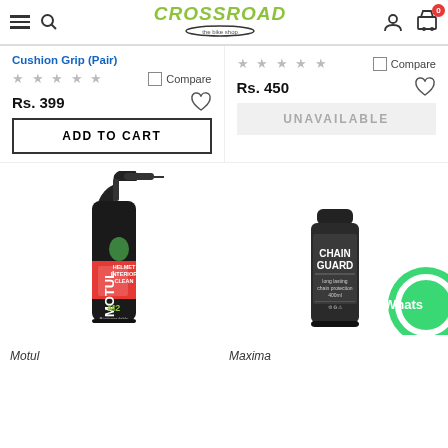Crossroad - The Bike Shop
Cushion Grip (Pair)
Rs. 399
ADD TO CART
Rs. 450
UNAVAILABLE
[Figure (photo): Motul Helmet Interior Clean M2 spray bottle]
[Figure (photo): Maxima Chain Guard aerosol can]
[Figure (logo): WhatsApp chat button partially visible]
Motul
Maxima